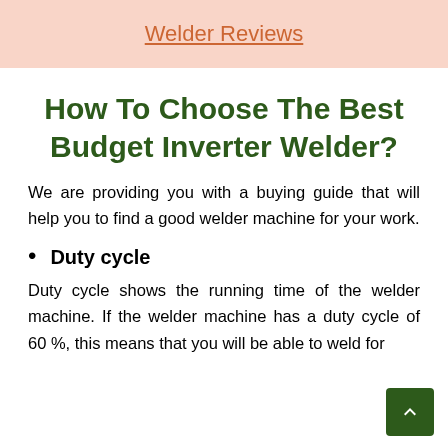Welder Reviews
How To Choose The Best Budget Inverter Welder?
We are providing you with a buying guide that will help you to find a good welder machine for your work.
Duty cycle
Duty cycle shows the running time of the welder machine. If the welder machine has a duty cycle of 60 %, this means that you will be able to weld for